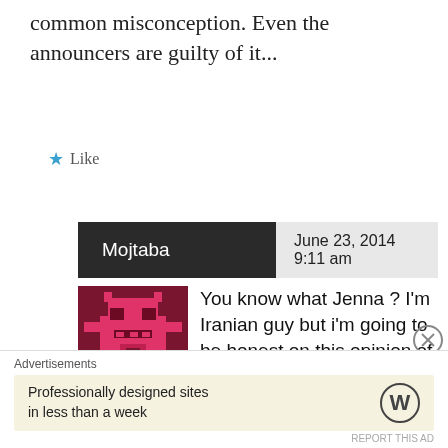common misconception. Even the announcers are guilty of it...
Like
Mojtaba   June 23, 2014  9:11 am
[Figure (illustration): Pixel art avatar image of a pink/red robot-like character on dark red background]
You know what Jenna ? I'm Iranian guy but i'm going to be honest on this opinion of mine, i think ZABALETA touched the ball first too, but what kind of touch ? he couldn't clear the ball completely
Advertisements
Professionally designed sites in less than a week
[Figure (logo): WordPress logo circle W]
REPORT THIS AD